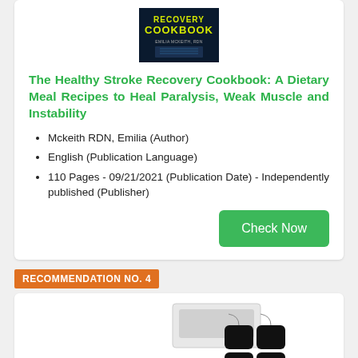[Figure (photo): Book cover for The Healthy Stroke Recovery Cookbook by Emilia Mckeith RDN, dark background with green and yellow text]
The Healthy Stroke Recovery Cookbook: A Dietary Meal Recipes to Heal Paralysis, Weak Muscle and Instability
Mckeith RDN, Emilia (Author)
English (Publication Language)
110 Pages - 09/21/2021 (Publication Date) - Independently published (Publisher)
Check Now
RECOMMENDATION NO. 4
[Figure (photo): Product image showing a medical TENS/EMS device with electrode pads, white background]